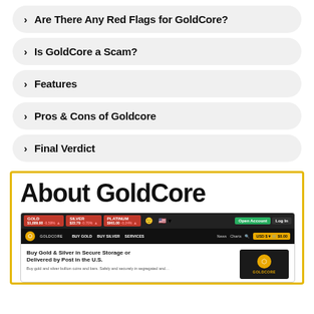Are There Any Red Flags for GoldCore?
Is GoldCore a Scam?
Features
Pros & Cons of Goldcore
Final Verdict
About GoldCore
[Figure (screenshot): Screenshot of the GoldCore website showing the navigation bar with Buy Gold, Buy Silver, Services links, price tickers for Gold, Silver, Platinum, and the headline 'Buy Gold & Silver in Secure Storage or Delivered by Post in the U.S.']